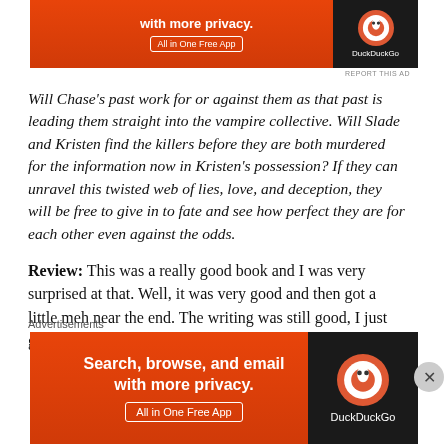[Figure (other): DuckDuckGo advertisement banner at top: red/orange background with text 'with more privacy. All in One Free App' and DuckDuckGo logo on dark background]
Will Chase’s past work for or against them as that past is leading them straight into the vampire collective. Will Slade and Kristen find the killers before they are both murdered for the information now in Kristen’s possession? If they can unravel this twisted web of lies, love, and deception, they will be free to give in to fate and see how perfect they are for each other even against the odds.
Review: This was a really good book and I was very surprised at that. Well, it was very good and then got a little meh near the end. The writing was still good, I just got the urge to smack the woman
Advertisements
[Figure (other): DuckDuckGo advertisement banner at bottom: red/orange background with text 'Search, browse, and email with more privacy. All in One Free App' and DuckDuckGo logo on dark background]